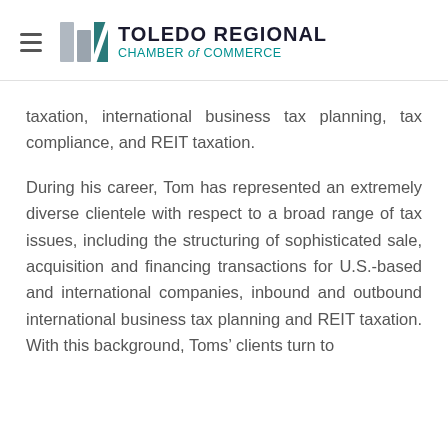Toledo Regional Chamber of Commerce
taxation, international business tax planning, tax compliance, and REIT taxation.
During his career, Tom has represented an extremely diverse clientele with respect to a broad range of tax issues, including the structuring of sophisticated sale, acquisition and financing transactions for U.S.-based and international companies, inbound and outbound international business tax planning and REIT taxation. With this background, Toms’ clients turn to